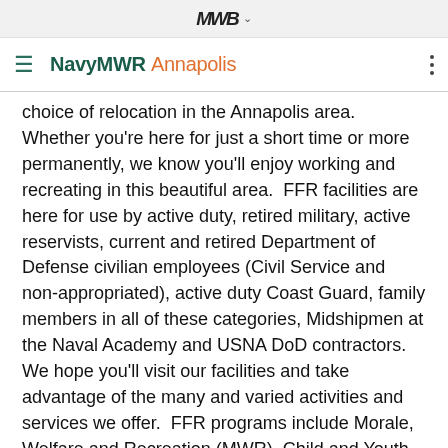MWR (logo) NavyMWR Annapolis
choice of relocation in the Annapolis area.  Whether you're here for just a short time or more permanently, we know you'll enjoy working and recreating in this beautiful area.  FFR facilities are here for use by active duty, retired military, active reservists, current and retired Department of Defense civilian employees (Civil Service and non-appropriated), active duty Coast Guard, family members in all of these categories, Midshipmen at the Naval Academy and USNA DoD contractors.  We hope you'll visit our facilities and take advantage of the many and varied activities and services we offer.  FFR programs include Morale, Welfare and Recreation (MWR), Child and Youth Programs, Fleet and Family Support Program, Family and Bachelor Housing, and Navy Gateway Inns and Suites.  We hope that you will become active in our FFR programs at NSA Annapolis.  The